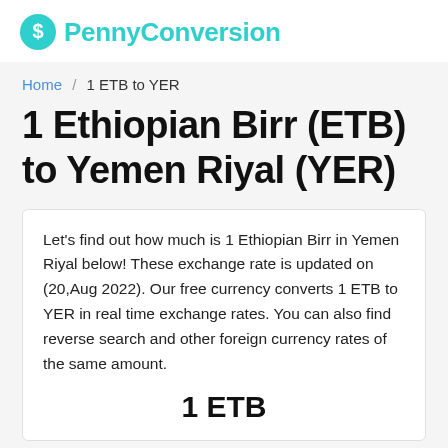PennyConversion
Home / 1 ETB to YER
1 Ethiopian Birr (ETB) to Yemen Riyal (YER)
Let's find out how much is 1 Ethiopian Birr in Yemen Riyal below! These exchange rate is updated on (20,Aug 2022). Our free currency converts 1 ETB to YER in real time exchange rates. You can also find reverse search and other foreign currency rates of the same amount.
1 ETB